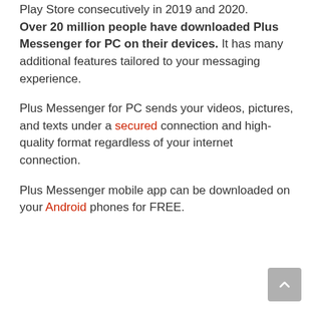Play Store consecutively in 2019 and 2020. Over 20 million people have downloaded Plus Messenger for PC on their devices. It has many additional features tailored to your messaging experience.
Plus Messenger for PC sends your videos, pictures, and texts under a secured connection and high-quality format regardless of your internet connection.
Plus Messenger mobile app can be downloaded on your Android phones for FREE.